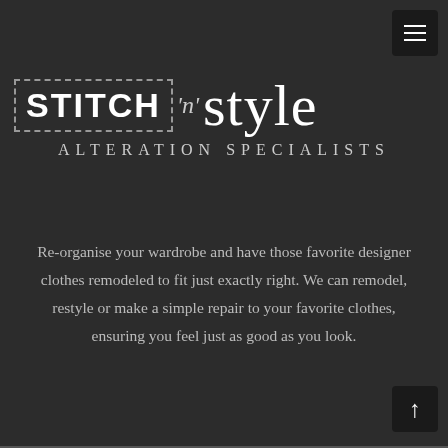[Figure (logo): Stitch 'n' Style Alteration Specialists logo on dark background]
Re-organise your wardrobe and have those favorite designer clothes remodeled to fit just exactly right. We can remodel, restyle or make a simple repair to your favorite clothes, ensuring you feel just as good as you look.